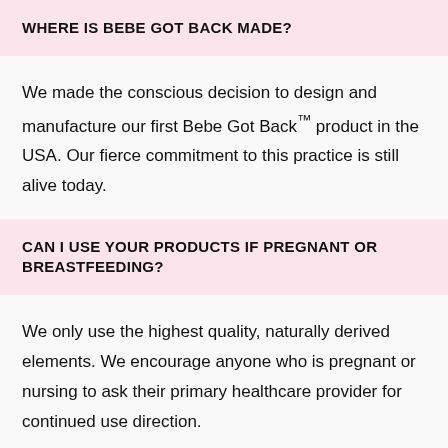WHERE IS BEBE GOT BACK MADE?
We made the conscious decision to design and manufacture our first Bebe Got Back™ product in the USA. Our fierce commitment to this practice is still alive today.
CAN I USE YOUR PRODUCTS IF PREGNANT OR BREASTFEEDING?
We only use the highest quality, naturally derived elements. We encourage anyone who is pregnant or nursing to ask their primary healthcare provider for continued use direction.